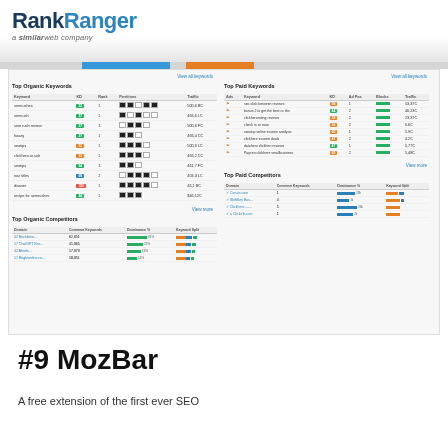[Figure (screenshot): RankRanger (a Similarweb company) logo in header with blue gradient bar]
[Figure (screenshot): RankRanger dashboard screenshot showing Top Organic Keywords, Top Paid Keywords, Top Organic Competitors, and Top Paid Competitors tables with colored badges and bar indicators]
#9 MozBar
A free extension of the first ever SEO